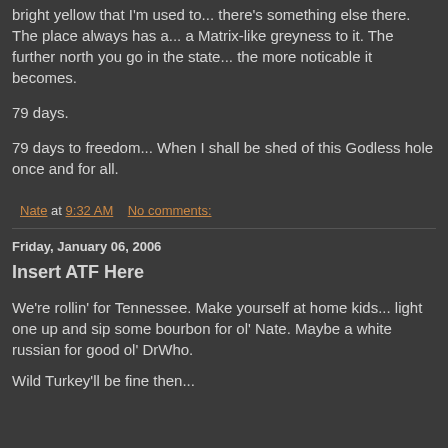bright yellow that I'm used to... there's something else there. The place always has a... a Matrix-like greyness to it. The further north you go in the state... the more noticable it becomes.
79 days.
79 days to freedom... When I shall be shed of this Godless hole once and for all.
Nate at 9:32 AM    No comments:
Friday, January 06, 2006
Insert ATF Here
We're rollin' for Tennessee. Make yourself at home kids... light one up and sip some bourbon for ol' Nate. Maybe a white russian for good ol' DrWho.
Wild Turkey'll be fine then...